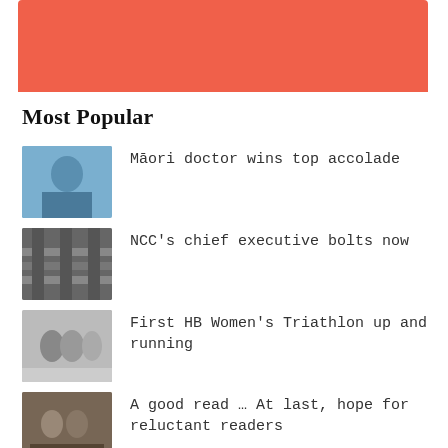[Figure (photo): Orange/salmon colored banner image at top of page]
Most Popular
Māori doctor wins top accolade
NCC's chief executive bolts now
First HB Women's Triathlon up and running
A good read … At last, hope for reluctant readers
Volunteers recognised at Civic Honours Awards
Rewilding: Help nature self-heal